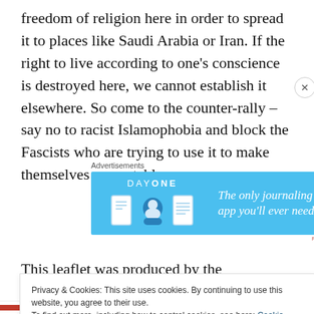freedom of religion here in order to spread it to places like Saudi Arabia or Iran. If the right to live according to one's conscience is destroyed here, we cannot establish it elsewhere. So come to the counter-rally – say no to racist Islamophobia and block the Fascists who are trying to use it to make themselves respectable.
[Figure (other): Advertisement for Day One journaling app on blue background with icons and text 'The only journaling app you'll ever need.']
This leaflet was produced by the Melbourne Anarchist
Privacy & Cookies: This site uses cookies. By continuing to use this website, you agree to their use.
To find out more, including how to control cookies, see here: Cookie Policy
Close and accept